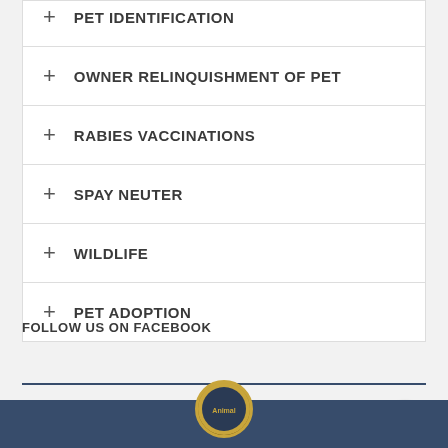+ PET IDENTIFICATION
+ OWNER RELINQUISHMENT OF PET
+ RABIES VACCINATIONS
+ SPAY NEUTER
+ WILDLIFE
+ PET ADOPTION
FOLLOW US ON FACEBOOK
[Figure (logo): Animal services organization circular logo with gold border at bottom of page]